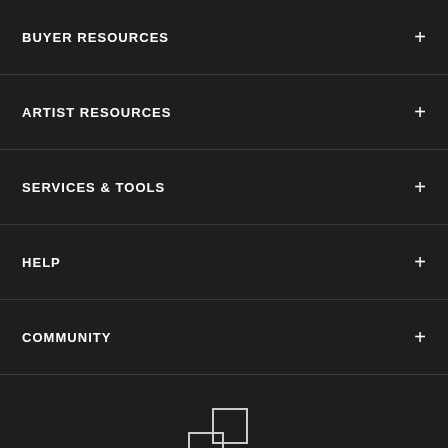BUYER RESOURCES
ARTIST RESOURCES
SERVICES & TOOLS
HELP
COMMUNITY
[Figure (logo): Pond5 logo mark — two overlapping rectangles forming a stylized P shape, white outline on dark background]
© 2022 Pond5 Inc.